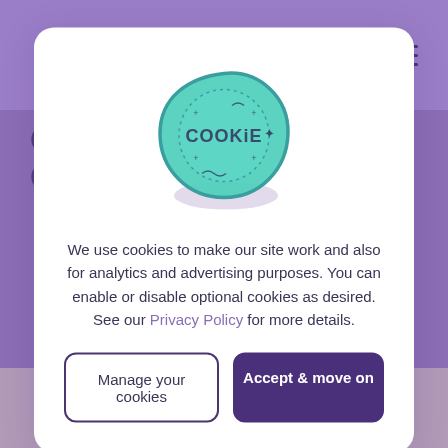Plytix
Q&A with Co-headless Commerce and Sharif
[Figure (illustration): Cookie consent dialog with a teal wax seal stamp illustration showing the word COOKIE]
We use cookies to make our site work and also for analytics and advertising purposes. You can enable or disable optional cookies as desired. See our Privacy Policy for more details.
Manage your cookies
Accept & move on